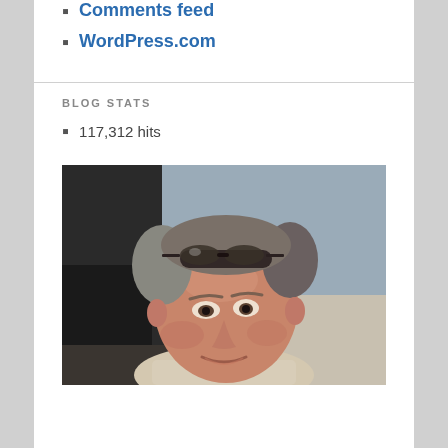Comments feed
WordPress.com
BLOG STATS
117,312 hits
[Figure (photo): Portrait photo of a middle-aged man with sunglasses on his head, wearing a light-colored shirt, smiling, photographed indoors]